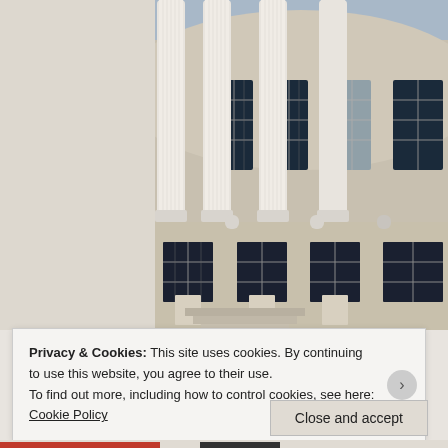[Figure (photo): Photograph of a neoclassical government building with large white columns and multi-pane windows. Left portion shows a beige/cream textured wall. Right portion shows tall Corinthian columns, curved facade, and ornate windows on two levels.]
Privacy & Cookies: This site uses cookies. By continuing to use this website, you agree to their use.
To find out more, including how to control cookies, see here: Cookie Policy
Close and accept